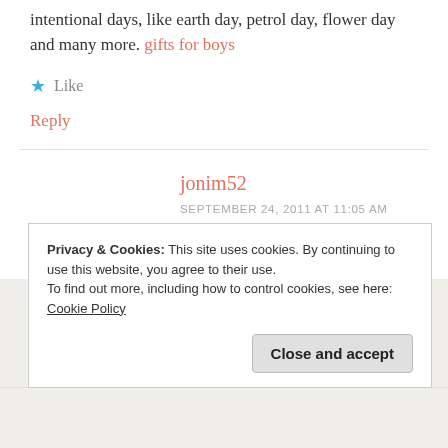intentional days, like earth day, petrol day, flower day and many more. gifts for boys
Like
Reply
jonim52
SEPTEMBER 24, 2011 AT 11:05 AM
Wow what an adorable stamp, perfect coloring,
Privacy & Cookies: This site uses cookies. By continuing to use this website, you agree to their use. To find out more, including how to control cookies, see here: Cookie Policy
Close and accept